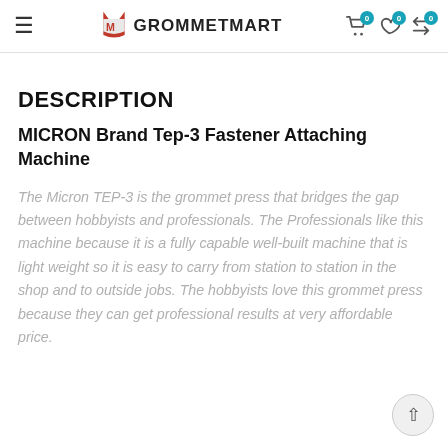GROMMETMART — navigation header with hamburger menu, logo, cart (0), wishlist (0), compare (0)
DESCRIPTION
MICRON Brand Tep-3 Fastener Attaching Machine
The Micron TEP-3 is the grommet press that bridges the gap between hobbyists and professionals. The Professionals like this machine because it is a fully capable well-built machine that is light weight so it is easy to carry from station to station in the shop and to outside jobs. The hobbyists love this grommet press because they can get professional results at very affordable price.